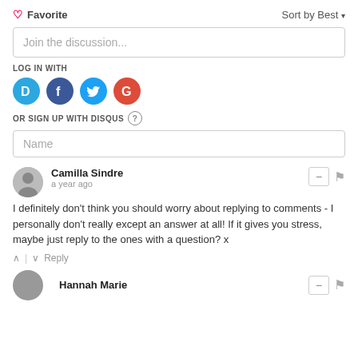♡ Favorite
Sort by Best ▾
Join the discussion...
LOG IN WITH
[Figure (illustration): Four social login icons: Disqus (blue D), Facebook (dark blue f), Twitter (blue bird), Google (red G)]
OR SIGN UP WITH DISQUS ?
Name
Camilla Sindre
a year ago
I definitely don't think you should worry about replying to comments - I personally don't really except an answer at all! If it gives you stress, maybe just reply to the ones with a question? x
↑ | ↓  Reply
Hannah Marie